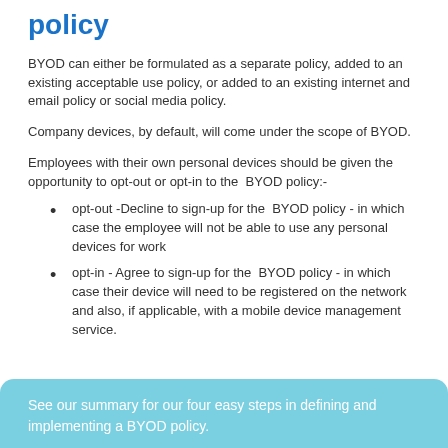policy
BYOD can either be formulated as a separate policy, added to an existing acceptable use policy, or added to an existing internet and email policy or social media policy.
Company devices, by default, will come under the scope of BYOD.
Employees with their own personal devices should be given the opportunity to opt-out or opt-in to the BYOD policy:-
opt-out -Decline to sign-up for the BYOD policy - in which case the employee will not be able to use any personal devices for work
opt-in - Agree to sign-up for the BYOD policy - in which case their device will need to be registered on the network and also, if applicable, with a mobile device management service.
See our summary for our four easy steps in defining and implementing a BYOD policy.